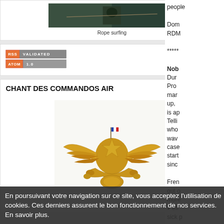[Figure (photo): Photo of rope surfing, dark/green outdoor scene]
Rope surfing
[Figure (screenshot): RSS Validated and ATOM 1.0 feed validation badges]
CHANT DES COMMANDOS AIR
[Figure (photo): Gold military insignia badge with eagle wings spread and French flag on top, on white background]
people
Dom RDM
*****
Nob
Dur Pro mar up, is ap Telli who wav case start sinc
Fren out o more ✔eff sick p
En poursuivant votre navigation sur ce site, vous acceptez l'utilisation de cookies. Ces derniers assurent le bon fonctionnement de nos services. En savoir plus.